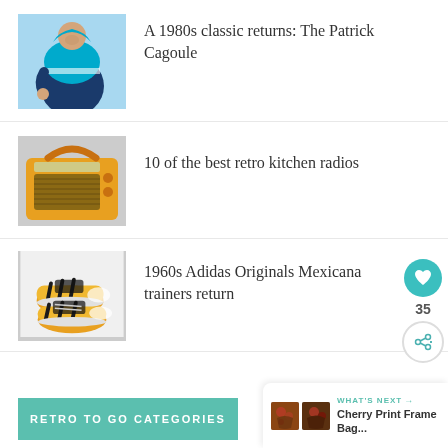[Figure (photo): Man wearing teal/blue Patrick Cagoule windbreaker jacket, looking down]
A 1980s classic returns: The Patrick Cagoule
[Figure (photo): Yellow retro kitchen radio with handle (VQ-style)]
10 of the best retro kitchen radios
[Figure (photo): Pair of yellow and black Adidas Originals Mexicana trainers/sneakers]
1960s Adidas Originals Mexicana trainers return
35
WHAT'S NEXT → Cherry Print Frame Bag...
RETRO TO GO CATEGORIES